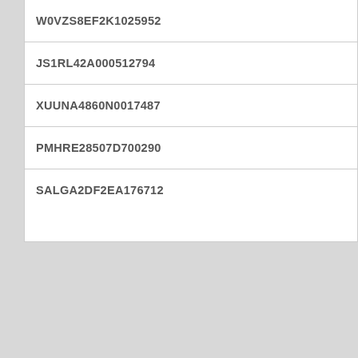| W0VZS8EF2K1025952 |
| JS1RL42A000512794 |
| XUUNA4860N0017487 |
| PMHRE28507D700290 |
| SALGA2DF2EA176712 |
|  |
|  |